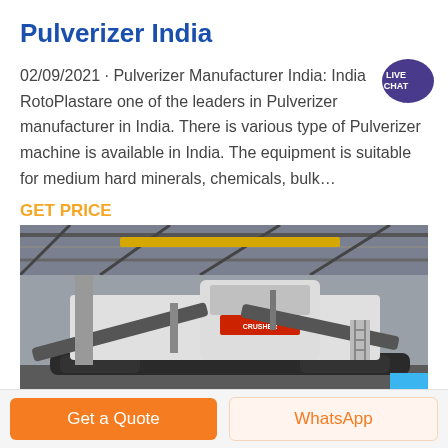Pulverizer India
02/09/2021 · Pulverizer Manufacturer India: India RotoPlastare one of the leaders in Pulverizer manufacturer in India. There is various type of Pulverizer machine is available in India. The equipment is suitable for medium hard minerals, chemicals, bulk…
GET PRICE
[Figure (photo): Industrial pulverizer/crusher machine inside a factory warehouse with steel roof structure]
Get a Quote
WhatsApp